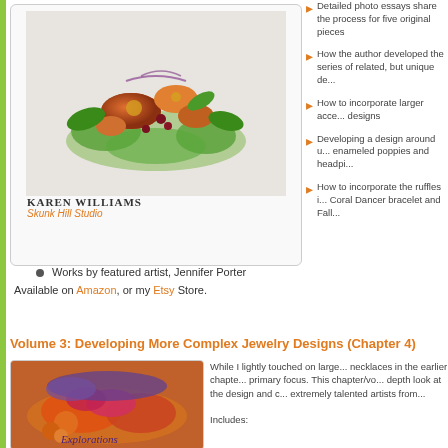[Figure (photo): Book cover showing beaded jewelry brooch with floral mushroom design in orange, green, and purple beads. Author: Karen Williams, Skunk Hill Studio.]
Detailed photo essays share the process for five original pieces
How the author developed the series of related, but unique de...
How to incorporate larger acce... designs
Developing a design around u... enameled poppies and headpi...
How to incorporate the ruffles i... Coral Dancer bracelet and Fall...
Works by featured artist, Jennifer Porter
Available on Amazon, or my Etsy Store.
Volume 3: Developing More Complex Jewelry Designs (Chapter 4)
[Figure (photo): Book cover showing colorful beaded bracelet/necklace in orange, red, pink, and purple with 'Explorations' text visible at bottom.]
While I lightly touched on large... necklaces in the earlier chapte... primary focus. This chapter/vo... depth look at the design and c... extremely talented artists from...
Includes: